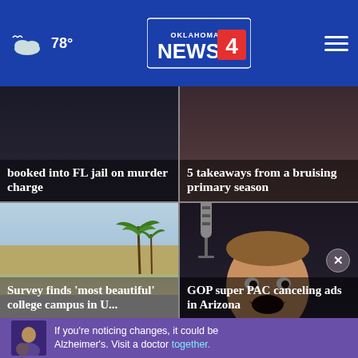Oklahoma's News 4 — 78°
[Figure (screenshot): News card: booked into FL jail on murder charge]
[Figure (screenshot): News card: 5 takeaways from a bruising primary season]
[Figure (screenshot): News card: Survey finds 'most beautiful' college campus in U...]
[Figure (screenshot): News card: GOP super PAC canceling ads in Arizona]
If you're noticing changes, it could be Alzheimer's. Visit a doctor together.